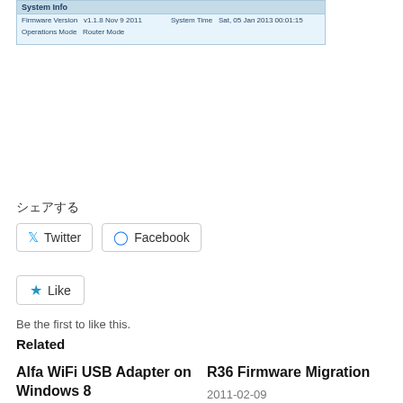[Figure (screenshot): System Info panel showing Firmware Version v1.1.8 Nov 9 2011, System Time Sat, 05 Jan 2013 00:01:15, Operations Mode Router Mode]
シェアする
Twitter  Facebook
Like
Be the first to like this.
Related
Alfa WiFi USB Adapter on Windows 8
2012-11-21
R36 Firmware Migration
2011-02-09
With 35 comments